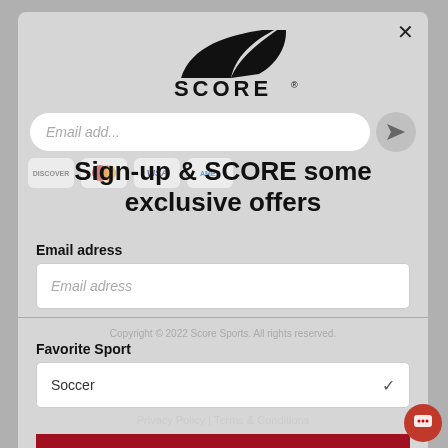[Figure (logo): SCORE sports brand logo with swoosh mark above the text SCORE with registered trademark symbol]
Email add...
Sign-up & SCORE some exclusive offers
Email adress
Email adress (input placeholder)
Favorite Sport
Copyright © 2022 Score Sports. All rights reserved.
Soccer
Privacy Policy | Terms & Conditions
Unlock Offer